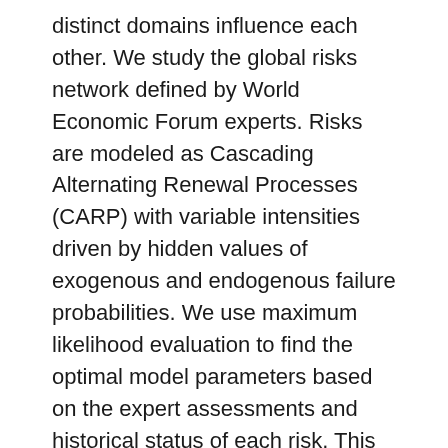distinct domains influence each other. We study the global risks network defined by World Economic Forum experts. Risks are modeled as Cascading Alternating Renewal Processes (CARP) with variable intensities driven by hidden values of exogenous and endogenous failure probabilities. We use maximum likelihood evaluation to find the optimal model parameters based on the expert assessments and historical status of each risk. This approach enables us to analyze risks that are particularly difficult to quantify, such as geo-political or social risks in addition to more quantitative risks such as economic, technological and natural.
In the talk, we describe model dynamics and